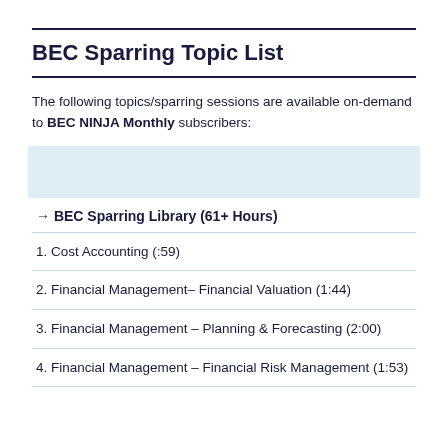BEC Sparring Topic List
The following topics/sparring sessions are available on-demand to BEC NINJA Monthly subscribers:
→ BEC Sparring Library (61+ Hours)
1. Cost Accounting (:59)
2. Financial Management- Financial Valuation (1:44)
3. Financial Management - Planning & Forecasting (2:00)
4. Financial Management - Financial Risk Management (1:53)